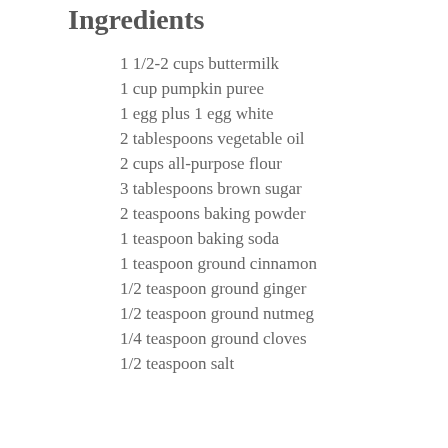Ingredients
1 1/2-2 cups buttermilk
1 cup pumpkin puree
1 egg plus 1 egg white
2 tablespoons vegetable oil
2 cups all-purpose flour
3 tablespoons brown sugar
2 teaspoons baking powder
1 teaspoon baking soda
1 teaspoon ground cinnamon
1/2 teaspoon ground ginger
1/2 teaspoon ground nutmeg
1/4 teaspoon ground cloves
1/2 teaspoon salt